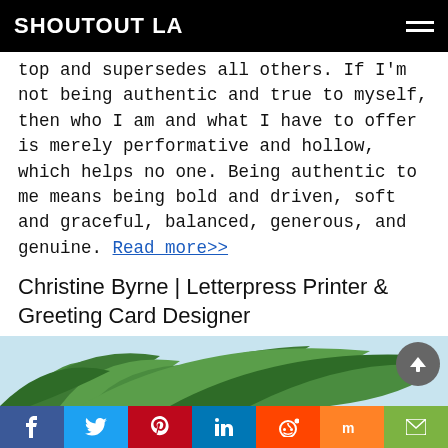SHOUTOUT LA
top and supersedes all others. If I'm not being authentic and true to myself, then who I am and what I have to offer is merely performative and hollow, which helps no one. Being authentic to me means being bold and driven, soft and graceful, balanced, generous, and genuine. Read more>>
Christine Byrne | Letterpress Printer & Greeting Card Designer
[Figure (photo): Photo of green plant leaves on a light blue background, partially visible at bottom of page]
Social share bar: Facebook, Twitter, Pinterest, LinkedIn, Reddit, Mix, Email